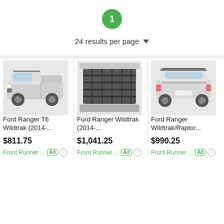1
24 results per page
[Figure (photo): White Ford Ranger T6 Wildtrak pickup truck with roof rack, front three-quarter view]
Ford Ranger T6 Wildtrak (2014-...
$811.75
Front Runner ... Ad i
[Figure (photo): Black metal rack/tray accessory for Ford Ranger Wildtrak bed, top-down angle view]
Ford Ranger Wildtrak (2014-...
$1,041.25
Front Runner ... Ad i
[Figure (photo): White Ford Ranger Wildtrak/Raptor pickup truck with roof rack, rear three-quarter view]
Ford Ranger Wildtrak/Raptor...
$990.25
Front Runner ... Ad i